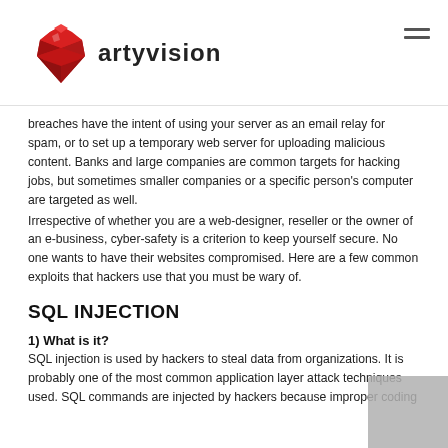[Figure (logo): Artyvision logo with red gem/diamond shape on left and stylized bold lowercase text 'artyvision' on right]
breaches have the intent of using your server as an email relay for spam, or to set up a temporary web server for uploading malicious content. Banks and large companies are common targets for hacking jobs, but sometimes smaller companies or a specific person's computer are targeted as well.
Irrespective of whether you are a web-designer, reseller or the owner of an e-business, cyber-safety is a criterion to keep yourself secure. No one wants to have their websites compromised. Here are a few common exploits that hackers use that you must be wary of.
SQL INJECTION
1) What is it?
SQL injection is used by hackers to steal data from organizations. It is probably one of the most common application layer attack techniques used. SQL commands are injected by hackers because improper coding